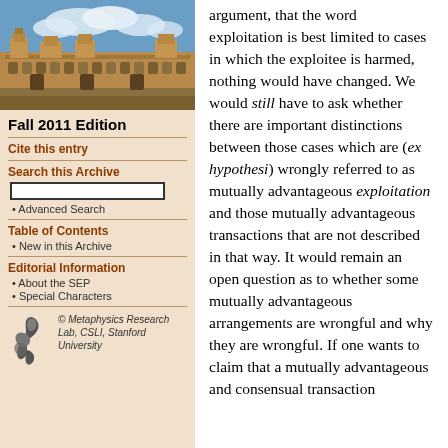[Figure (photo): Photo of a historic university building (stone architecture) with blue sky and clouds]
Fall 2011 Edition
Cite this entry
Search this Archive
Advanced Search
Table of Contents
New in this Archive
Editorial Information
About the SEP
Special Characters
© Metaphysics Research Lab, CSLI, Stanford University
argument, that the word exploitation is best limited to cases in which the exploitee is harmed, nothing would have changed. We would still have to ask whether there are important distinctions between those cases which are (ex hypothesi) wrongly referred to as mutually advantageous exploitation and those mutually advantageous transactions that are not described in that way. It would remain an open question as to whether some mutually advantageous arrangements are wrongful and why they are wrongful. If one wants to claim that a mutually advantageous and consensual transaction